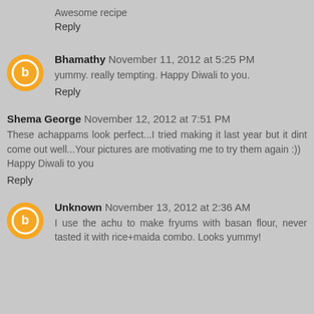Awesome recipe
Reply
Bhamathy November 11, 2012 at 5:25 PM
yummy. really tempting. Happy Diwali to you.
Reply
Shema George November 12, 2012 at 7:51 PM
These achappams look perfect...I tried making it last year but it dint come out well...Your pictures are motivating me to try them again :))
Happy Diwali to you
Reply
Unknown November 13, 2012 at 2:36 AM
I use the achu to make fryums with basan flour, never tasted it with rice+maida combo. Looks yummy!